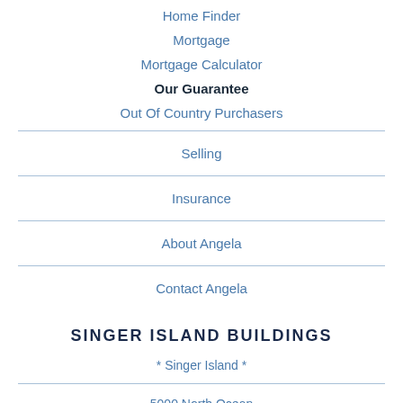Home Finder
Mortgage
Mortgage Calculator
Our Guarantee
Out Of Country Purchasers
Selling
Insurance
About Angela
Contact Angela
SINGER ISLAND BUILDINGS
* Singer Island *
5000 North Ocean
Amrit Ocean Resort & Residences
Aquatine